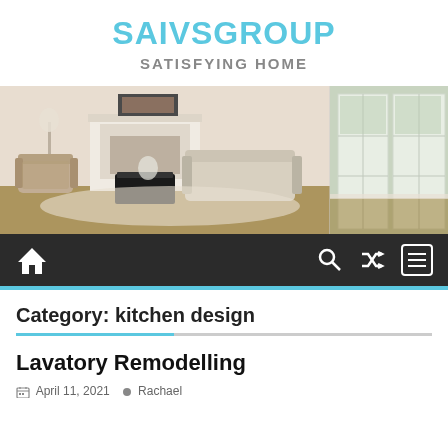SAIVSGROUP
SATISFYING HOME
[Figure (photo): Interior living room with fireplace, armchairs, sofa, and large windows with natural light]
[Figure (infographic): Dark navigation bar with home icon, search icon, shuffle icon, and menu/hamburger icon]
Category: kitchen design
Lavatory Remodelling
April 11, 2021   Rachael